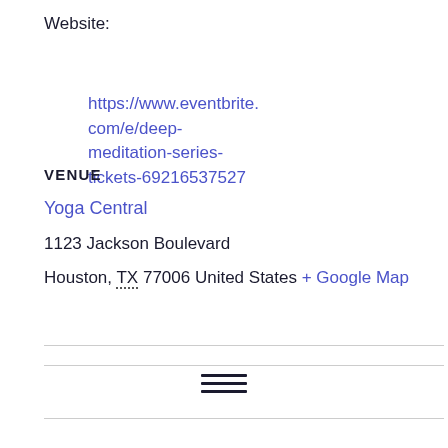Website:
https://www.eventbrite.com/e/deep-meditation-series-tickets-69216537527
VENUE
Yoga Central
1123 Jackson Boulevard
Houston, TX 77006 United States + Google Map